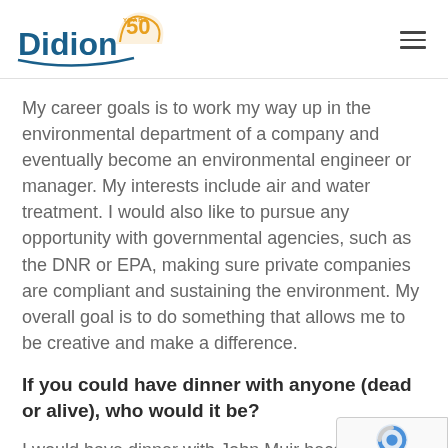Didion 50 Years
My career goals is to work my way up in the environmental department of a company and eventually become an environmental engineer or manager. My interests include air and water treatment. I would also like to pursue any opportunity with governmental agencies, such as the DNR or EPA, making sure private companies are compliant and sustaining the environment. My overall goal is to do something that allows me to be creative and make a difference.
If you could have dinner with anyone (dead or alive), who would it be?
I would have dinner with John Muir because he